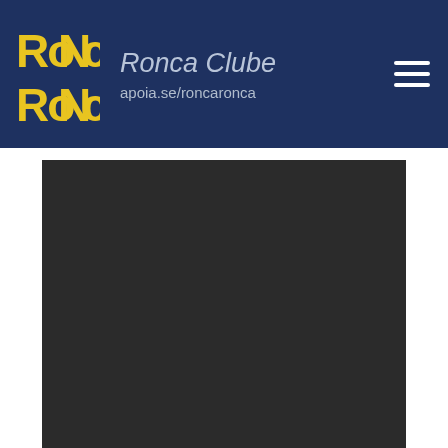Ronca Clube — apoia.se/roncaronca
[Figure (screenshot): Embedded video player showing 'This video is private' error message with a warning icon, on a dark background.]